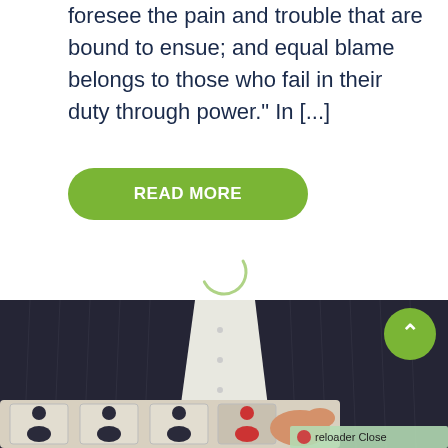foresee the pain and trouble that are bound to ensue; and equal blame belongs to those who fail in their duty through power.” In […]
READ MORE
[Figure (illustration): Loading spinner arc in light green/teal color, partially drawn circle arc indicating a loading state]
[Figure (photo): A person in a dark pinstripe suit holding puzzle pieces with person/people icons. Puzzle pieces are light colored wooden tiles with silhouette figures on them. A green circle with an upward chevron (back-to-top button) is in the upper right corner. A 'Preloader Close' badge with a red dot is in the lower right corner.]